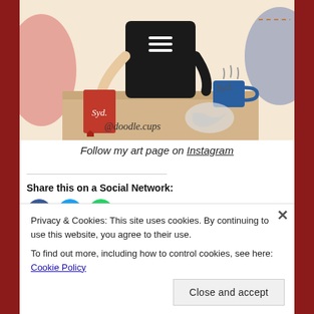[Figure (illustration): Hand-drawn illustration of a barista/person at a counter holding a red notebook labeled 'Syd.' with a blue coffee cup steaming on the counter. Signed '@doodle.cups' and 'Syd.' in cursive.]
Follow my art page on Instagram
Share this on a Social Network:
Privacy & Cookies: This site uses cookies. By continuing to use this website, you agree to their use.
To find out more, including how to control cookies, see here: Cookie Policy
Close and accept